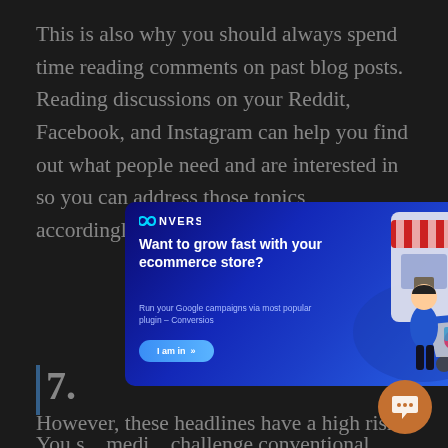This is also why you should always spend time reading comments on past blog posts. Reading discussions on your Reddit, Facebook, and Instagram can help you find out what people need and are interested in so you can address those topics accordingly.
7.
You s... medi... challenge conventional wisdom and go against the beliefs of a few.
[Figure (screenshot): CONVERSIOS advertisement popup overlay. Dark blue gradient background with title 'Want to grow fast with your ecommerce store?' and subtitle 'Run your Google campaigns via most popular plugin – Conversios'. Has a blue 'I am in »' button and a close (X) button. Right side shows an illustration of a woman pushing a shopping cart near a storefront.]
However, these headlines have a high risk of offend... t of people. That is why you need to be sure that you... near addressed the topic so that the content...